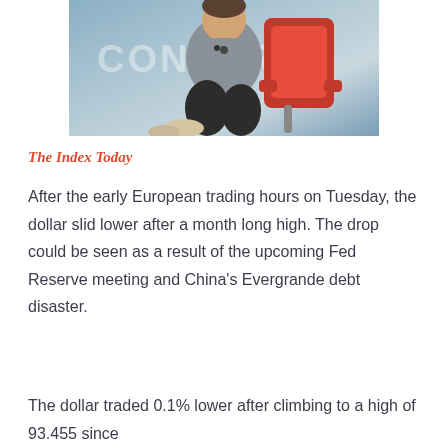[Figure (photo): Person seated in a red chair at what appears to be a conference (text 'CONFER' visible in background), wearing a grey shirt and dark pants]
The Index Today
After the early European trading hours on Tuesday, the dollar slid lower after a month long high. The drop could be seen as a result of the upcoming Fed Reserve meeting and China’s Evergrande debt disaster.
The dollar traded 0.1% lower after climbing to a high of 93.455 since